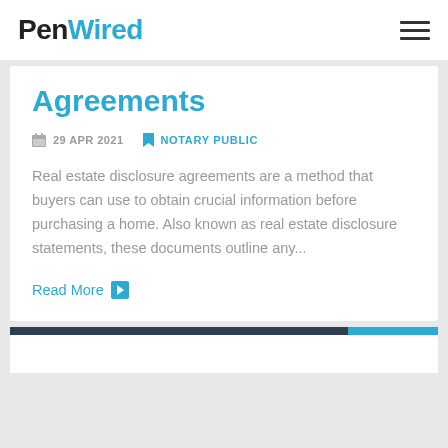PenWired
Agreements
29 APR 2021   NOTARY PUBLIC
Real estate disclosure agreements are a method that buyers can use to obtain crucial information before purchasing a home. Also known as real estate disclosure statements, these documents outline any...
Read More